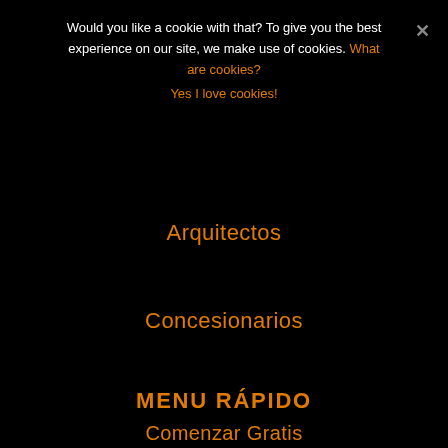Would you like a cookie with that? To give you the best experience on our site, we make use of cookies. What are cookies?
Yes I love cookies!
Arquitectos
Concesionarios
MENU RÁPIDO
Comenzar Gratis
¿Cómo Funciona?
¿Qué Camara es Mejor?
Software 360°